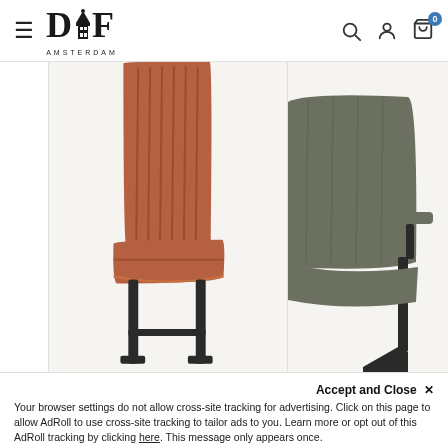DIF Amsterdam — navigation header with hamburger menu, logo, search, account, cart icons
[Figure (photo): Product page screenshot showing two bar/counter chairs. Left chair: rust/terracotta velvet upholstered bar stool with vertical channel tufting on back, black metal legs. Right chair (partially visible, cropped): olive/army green fabric chair with armrests and black cantilever metal frame. Background is light grey/beige.]
Accept and Close ×
Your browser settings do not allow cross-site tracking for advertising. Click on this page to allow AdRoll to use cross-site tracking to tailor ads to you. Learn more or opt out of this AdRoll tracking by clicking here. This message only appears once.